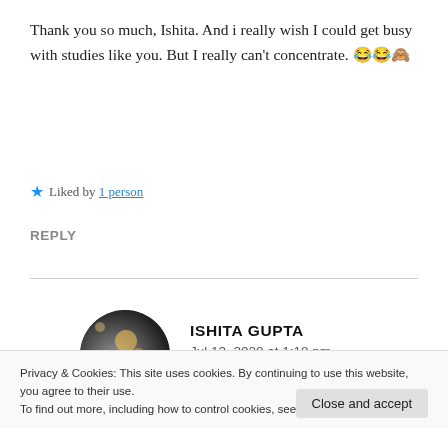Thank you so much, Ishita. And i really wish I could get busy with studies like you. But I really can't concentrate. 😂😂🙈
★ Liked by 1 person
REPLY
ISHITA GUPTA
Jul 13, 2020 at 1:18 pm
Privacy & Cookies: This site uses cookies. By continuing to use this website, you agree to their use.
To find out more, including how to control cookies, see here: Cookie Policy
Close and accept
anything😀 😀 I'm really grateful for that😀